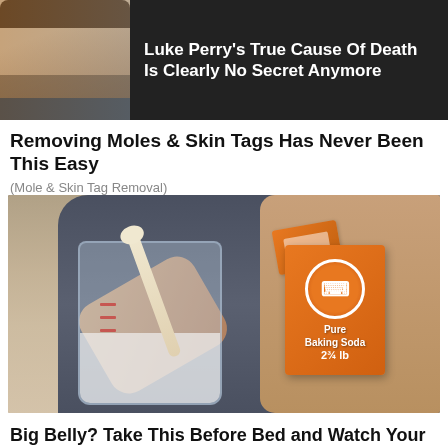[Figure (photo): Ad banner showing a man's face (Luke Perry) on dark background with text overlay]
Luke Perry's True Cause Of Death Is Clearly No Secret Anymore
Removing Moles & Skin Tags Has Never Been This Easy
(Mole & Skin Tag Removal)
[Figure (photo): Person pouring baking soda (Arm & Hammer brand box) into a glass jar using a wooden spoon]
Big Belly? Take This Before Bed and Watch Your Belly Fat